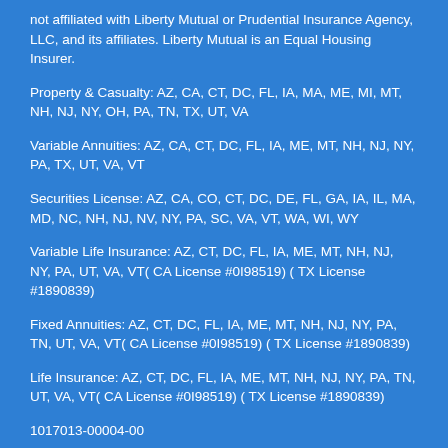not affiliated with Liberty Mutual or Prudential Insurance Agency, LLC, and its affiliates. Liberty Mutual is an Equal Housing Insurer.
Property & Casualty: AZ, CA, CT, DC, FL, IA, MA, ME, MI, MT, NH, NJ, NY, OH, PA, TN, TX, UT, VA
Variable Annuities: AZ, CA, CT, DC, FL, IA, ME, MT, NH, NJ, NY, PA, TX, UT, VA, VT
Securities License: AZ, CA, CO, CT, DC, DE, FL, GA, IA, IL, MA, MD, NC, NH, NJ, NV, NY, PA, SC, VA, VT, WA, WI, WY
Variable Life Insurance: AZ, CT, DC, FL, IA, ME, MT, NH, NJ, NY, PA, UT, VA, VT( CA License #0I98519) ( TX License #1890839)
Fixed Annuities: AZ, CT, DC, FL, IA, ME, MT, NH, NJ, NY, PA, TN, UT, VA, VT( CA License #0I98519) ( TX License #1890839)
Life Insurance: AZ, CT, DC, FL, IA, ME, MT, NH, NJ, NY, PA, TN, UT, VA, VT( CA License #0I98519) ( TX License #1890839)
1017013-00004-00